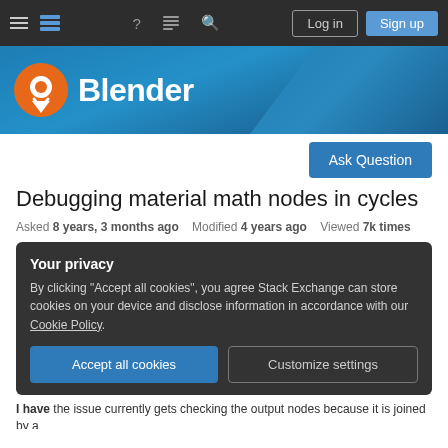Stack Exchange navigation bar with hamburger menu, icons, Log in, Sign up buttons
[Figure (logo): Blender Stack Exchange logo banner with orange pin/chat logo and white Blender text on blue gradient background]
Ask Question
Debugging material math nodes in cycles
Asked 8 years, 3 months ago   Modified 4 years ago   Viewed 7k times
Your privacy
By clicking "Accept all cookies", you agree Stack Exchange can store cookies on your device and disclose information in accordance with our Cookie Policy.
Accept all cookies   Customize settings
I have the issue currently goes checking the output nodes because it is joined by a